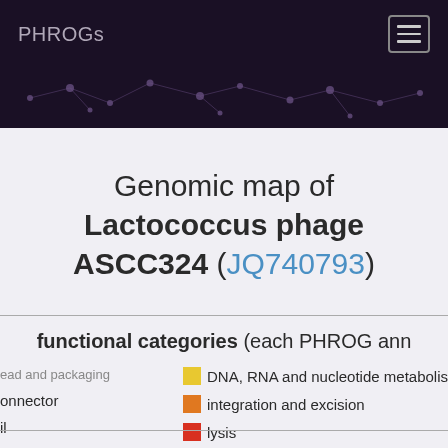PHROGs
Genomic map of Lactococcus phage ASCC324 (JQ740793)
functional categories (each PHROG ann...
head and packaging
connector
lysis (partial)
DNA, RNA and nucleotide metabolism
integration and excision
lysis